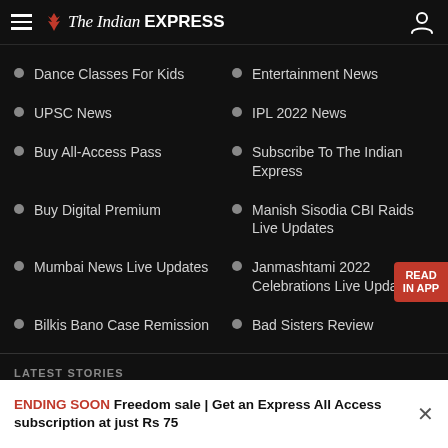The Indian EXPRESS
Dance Classes For Kids
Entertainment News
UPSC News
IPL 2022 News
Buy All-Access Pass
Subscribe To The Indian Express
Buy Digital Premium
Manish Sisodia CBI Raids Live Updates
Mumbai News Live Updates
Janmashtami 2022 Celebrations Live Updates
Bilkis Bano Case Remission
Bad Sisters Review
LATEST STORIES
ENDING SOON Freedom sale | Get an Express All Access subscription at just Rs 75